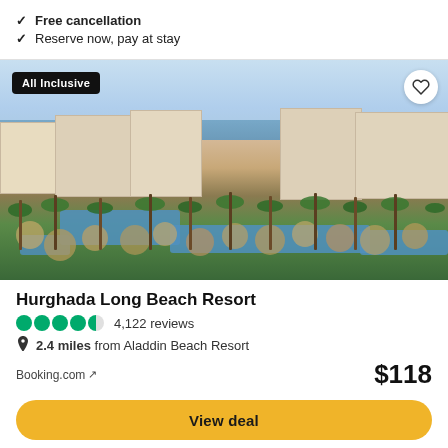✓ Free cancellation
✓ Reserve now, pay at stay
[Figure (photo): Aerial view of Hurghada Long Beach Resort showing pool area, palm trees, thatched umbrellas, and hotel buildings with sea in background. Badge reading 'All Inclusive' in top-left corner, heart/save button in top-right corner.]
Hurghada Long Beach Resort
4,122 reviews
2.4 miles from Aladdin Beach Resort
Booking.com ↗
$118
View deal